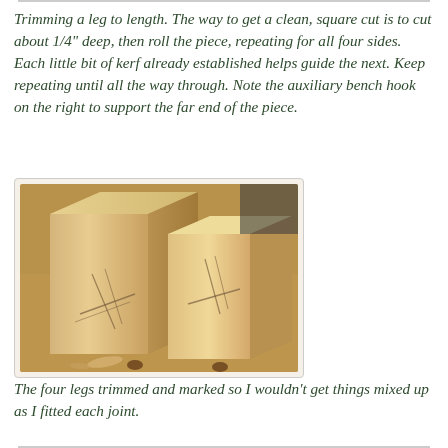Trimming a leg to length. The way to get a clean, square cut is to cut about 1/4" deep, then roll the piece, repeating for all four sides. Each little bit of kerf already established helps guide the next. Keep repeating until all the way through. Note the auxiliary bench hook on the right to support the far end of the piece.
[Figure (photo): Two wooden leg pieces being trimmed on a workbench. The pieces show saw kerfs cut into their sides, and wood shavings are visible on the bench surface. Bench dog holes are visible in the workbench.]
The four legs trimmed and marked so I wouldn't get things mixed up as I fitted each joint.